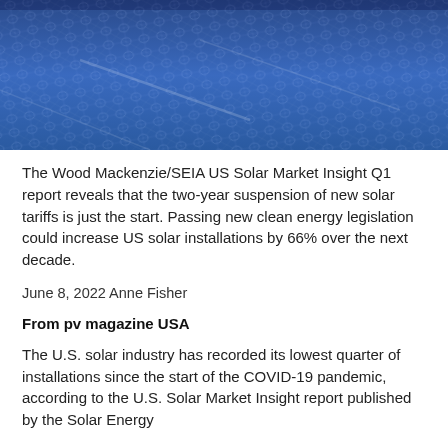[Figure (photo): Close-up photograph of blue solar panels with a mesh/grid texture pattern, taken from an angle showing the surface texture in blue tones.]
The Wood Mackenzie/SEIA US Solar Market Insight Q1 report reveals that the two-year suspension of new solar tariffs is just the start. Passing new clean energy legislation could increase US solar installations by 66% over the next decade.
June 8, 2022 Anne Fisher
From pv magazine USA
The U.S. solar industry has recorded its lowest quarter of installations since the start of the COVID-19 pandemic, according to the U.S. Solar Market Insight report published by the Solar Energy